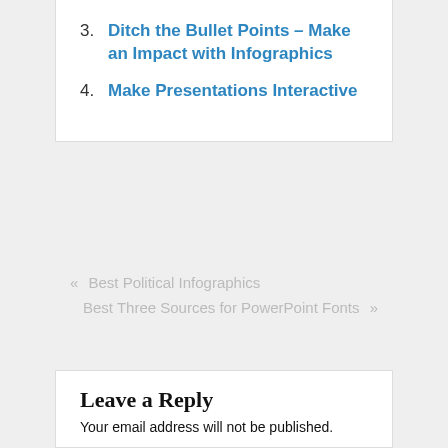3. Ditch the Bullet Points – Make an Impact with Infographics
4. Make Presentations Interactive
« Best Political Infographics
Best Three Sources for PowerPoint Fonts »
Leave a Reply
Your email address will not be published.